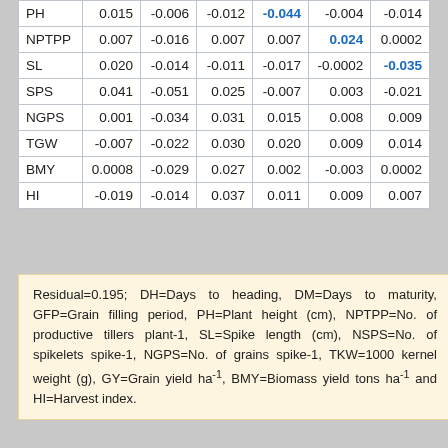| PH | 0.015 | -0.006 | -0.012 | -0.044 | -0.004 | -0.014 |
| NPTPP | 0.007 | -0.016 | 0.007 | 0.007 | 0.024 | 0.0002 |
| SL | 0.020 | -0.014 | -0.011 | -0.017 | -0.0002 | -0.035 |
| SPS | 0.041 | -0.051 | 0.025 | -0.007 | 0.003 | -0.021 |
| NGPS | 0.001 | -0.034 | 0.031 | 0.015 | 0.008 | 0.009 |
| TGW | -0.007 | -0.022 | 0.030 | 0.020 | 0.009 | 0.014 |
| BMY | 0.0008 | -0.029 | 0.027 | 0.002 | -0.003 | 0.0002 |
| HI | -0.019 | -0.014 | 0.037 | 0.011 | 0.009 | 0.007 |
Residual=0.195; DH=Days to heading, DM=Days to maturity, GFP=Grain filling period, PH=Plant height (cm), NPTPP=No. of productive tillers plant-1, SL=Spike length (cm), NSPS=No. of spikelets spike-1, NGPS=No. of grains spike-1, TKW=1000 kernel weight (g), GY=Grain yield ha-1, BMY=Biomass yield tons ha-1 and HI=Harvest index.